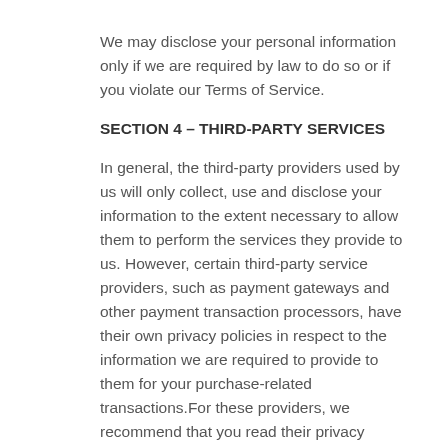We may disclose your personal information only if we are required by law to do so or if you violate our Terms of Service.
SECTION 4 – THIRD-PARTY SERVICES
In general, the third-party providers used by us will only collect, use and disclose your information to the extent necessary to allow them to perform the services they provide to us. However, certain third-party service providers, such as payment gateways and other payment transaction processors, have their own privacy policies in respect to the information we are required to provide to them for your purchase-related transactions.For these providers, we recommend that you read their privacy policies so you can understand the manner in which your personal information will be handled by these providers. In particular, remember that certain providers may be located in or have